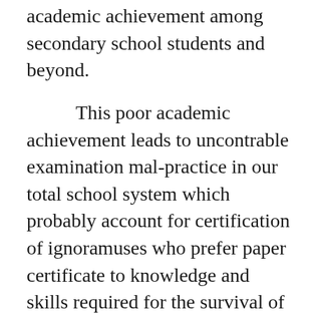academic achievement among secondary school students and beyond.
This poor academic achievement leads to uncontrable examination malpractice in our total school system which probably account for certification of ignoramuses who prefer paper certificate to knowledge and skills required for the survival of individual and thee entire society.
The condition when left unchecked in any society threatens to obliterate among other things; social order, man-power, national